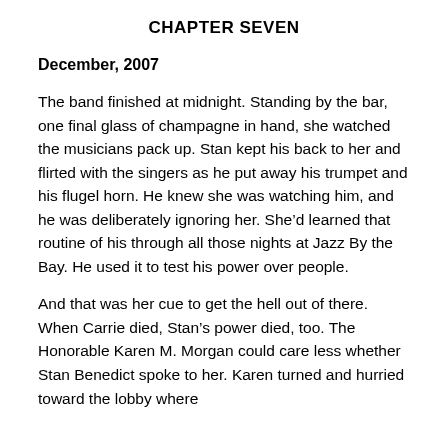CHAPTER SEVEN
December, 2007
The band finished at midnight. Standing by the bar, one final glass of champagne in hand, she watched the musicians pack up. Stan kept his back to her and flirted with the singers as he put away his trumpet and his flugel horn. He knew she was watching him, and he was deliberately ignoring her. She’d learned that routine of his through all those nights at Jazz By the Bay. He used it to test his power over people.
And that was her cue to get the hell out of there. When Carrie died, Stan’s power died, too. The Honorable Karen M. Morgan could care less whether Stan Benedict spoke to her. Karen turned and hurried toward the lobby where